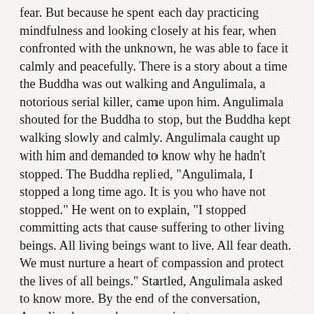fear. But because he spent each day practicing mindfulness and looking closely at his fear, when confronted with the unknown, he was able to face it calmly and peacefully. There is a story about a time the Buddha was out walking and Angulimala, a notorious serial killer, came upon him. Angulimala shouted for the Buddha to stop, but the Buddha kept walking slowly and calmly. Angulimala caught up with him and demanded to know why he hadn’t stopped. The Buddha replied, “Angulimala, I stopped a long time ago. It is you who have not stopped.” He went on to explain, “I stopped committing acts that cause suffering to other living beings. All living beings want to live. All fear death. We must nurture a heart of compassion and protect the lives of all beings.” Startled, Angulimala asked to know more. By the end of the conversation, Angulimala vowed never again to